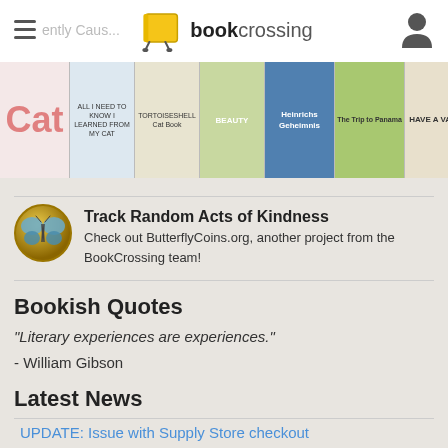bookcrossing
[Figure (photo): Horizontal strip of book covers: Cat, All I Need to Know I Learned from My Cat, Tortoiseshell Cat Book, Beauty (horse), Heinrichs Geheimnis, The Trip to Panama, Have A Vag...]
Track Random Acts of Kindness
Check out ButterflyCoins.org, another project from the BookCrossing team!
Bookish Quotes
"Literary experiences are experiences."
- William Gibson
Latest News
UPDATE: Issue with Supply Store checkout